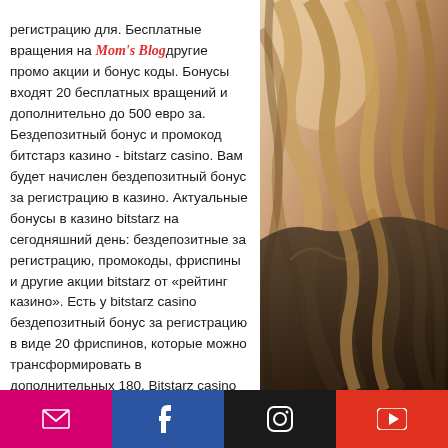регистрацию для. Бесплатные вращения на [Mom's Blog] другие промо акции и бонус коды. Бонусы входят 20 бесплатных вращений и дополнительно до 500 евро за. Бездепозитный бонус и промокод битстарз казино - bitstarz casino. Вам будет начислен бездепозитный бонус за регистрацию в казино. Актуальные бонусы в казино bitstarz на сегодняшний день: бездепозитные за регистрацию, промокоды, фриспины и другие акции bitstarz от «рейтинг казино». Есть у bitstarz casino бездепозитный бонус за регистрацию в виде 20 фриспинов, которые можно трансформировать в дополнительных 180. Bitstarz casino бездепозитный бонус позволит каждому новому игроку испытать свою удачу без риска проигрыша своих денег. За
[Figure (photo): Photo of a woman with long wavy blonde/brunette hair, wearing a dark leather jacket, shown from the side/back on the right side of the page.]
Social media icons: email, Facebook, Instagram, YouTube